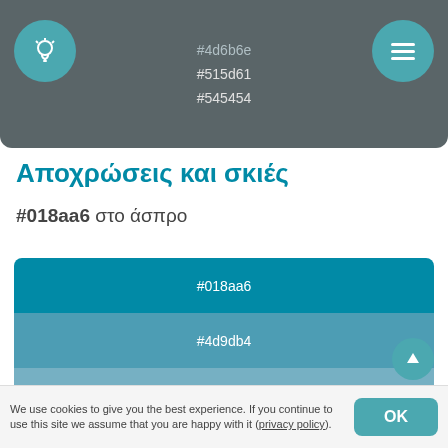[Figure (screenshot): Top navigation bar with teal lightbulb icon on left, dark grey background showing color codes #4d6b6e (partially visible), #515d61, #545454, and teal menu icon on right]
Αποχρώσεις και σκιές
#018aa6 στο άσπρο
[Figure (infographic): Color palette showing tints of #018aa6 to white: #018aa6, #4d9db4, #76b0c3, #99c3d2, #bcd7e1, #ddebf0, and partially visible last row]
We use cookies to give you the best experience. If you continue to use this site we assume that you are happy with it (privacy policy)